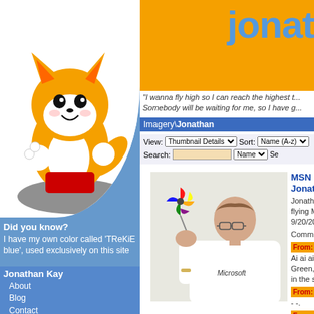[Figure (illustration): Tails (Miles Prower) cartoon fox character from Sonic the Hedgehog, colored orange and white, sitting/floating pose on white circular background]
Did you know?
I have my own color called 'TReKiE blue', used exclusively on this site
Jonathan Kay
About
Blog
Contact
Greetings
jKCam
Pictures
Resumé
jonat
"I wanna fly high so I can reach the highest t... Somebody will be waiting for me, so I have g...
Imagery\Jonathan
View: Thumbnail Details   Sort: Name (A-z)
Search:   Name   Se...
[Figure (photo): Man in white Microsoft t-shirt appearing to call out or whistle, with a rainbow pinwheel toy nearby]
MSN Butterfly Jonathan
Jonathan trie... flying MSN ... 9/20/2003 - 1...
Comments (4...
From: Ryan Da... Ai ai ai, I'm you... Green, black and... in the sky!
From: Segosa D...
From: Ryan Da... :-D DDR lyrics t... situation!
From: Omar Da... /me highlights T... :D
Make/Vie...
MSN Hat
Jo...